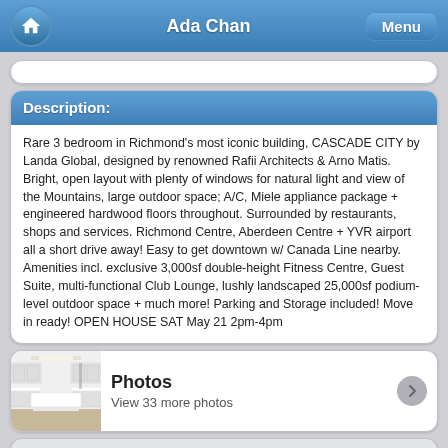Ada Chan
Description:
Rare 3 bedroom in Richmond's most iconic building, CASCADE CITY by Landa Global, designed by renowned Rafii Architects & Arno Matis. Bright, open layout with plenty of windows for natural light and view of the Mountains, large outdoor space; A/C, Miele appliance package + engineered hardwood floors throughout. Surrounded by restaurants, shops and services. Richmond Centre, Aberdeen Centre + YVR airport all a short drive away! Easy to get downtown w/ Canada Line nearby. Amenities incl. exclusive 3,000sf double-height Fitness Centre, Guest Suite, multi-functional Club Lounge, lushly landscaped 25,000sf podium-level outdoor space + much more! Parking and Storage included! Move in ready! OPEN HOUSE SAT May 21 2pm-4pm
[Figure (photo): Interior photo of a modern white kitchen with island counter]
Photos
View 33 more photos